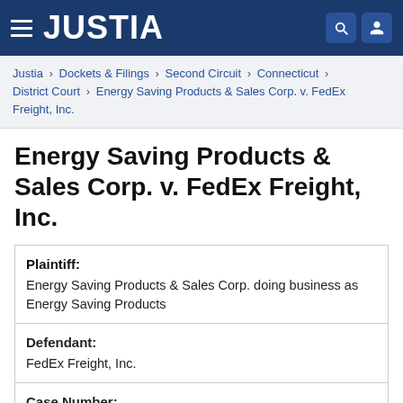JUSTIA
Justia › Dockets & Filings › Second Circuit › Connecticut › District Court › Energy Saving Products & Sales Corp. v. FedEx Freight, Inc.
Energy Saving Products & Sales Corp. v. FedEx Freight, Inc.
| Plaintiff: | Energy Saving Products & Sales Corp. doing business as Energy Saving Products |
| Defendant: | FedEx Freight, Inc. |
| Case Number: | 3:2022cv00628 |